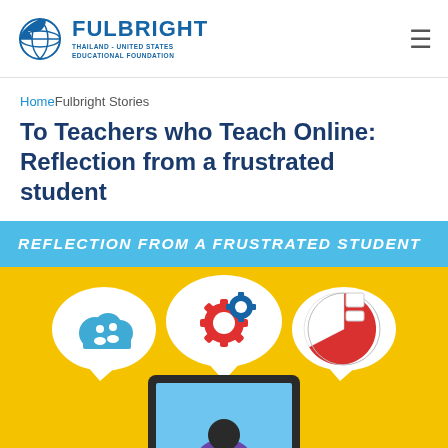FULBRIGHT — THAILAND - UNITED STATES EDUCATIONAL FOUNDATION
HomeFulbright Stories
To Teachers who Teach Online: Reflection from a frustrated student
[Figure (illustration): Infographic with blue banner reading 'REFLECTION FROM A FRUSTRATED STUDENT' and a yellow background showing a person sitting at a computer monitor with three speech bubbles: left bubble contains a blue cloud with people icon, center bubble contains red and blue gear icons, right bubble contains a red/white pie chart icon.]